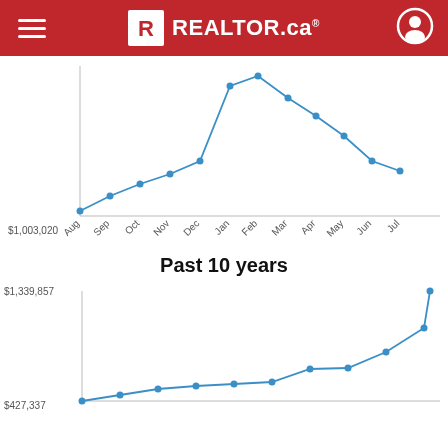REALTOR.ca
[Figure (line-chart): Past 12 months]
Past 10 years
[Figure (line-chart): Past 10 years]